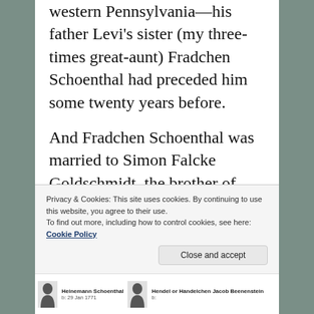western Pennsylvania—his father Levi's sister (my three-times great-aunt) Fradchen Schoenthal had preceded him some twenty years before.
And Fradchen Schoenthal was married to Simon Falcke Goldschmidt, the brother of Seligmann Goldschmidt and great-
Privacy & Cookies: This site uses cookies. By continuing to use this website, you agree to their use.
To find out more, including how to control cookies, see here: Cookie Policy
[Figure (other): Genealogy tree strip showing silhouette portraits of Heinemann Schoenthal (b: 29 Jan 1771) and Hendel or Handelchen Jacob Beenenstein]